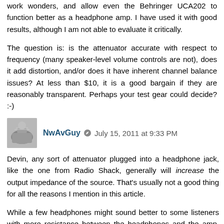work wonders, and allow even the Behringer UCA202 to function better as a headphone amp. I have used it with good results, although I am not able to evaluate it critically.
The question is: is the attenuator accurate with respect to frequency (many speaker-level volume controls are not), does it add distortion, and/or does it have inherent channel balance issues? At less than $10, it is a good bargain if they are reasonably transparent. Perhaps your test gear could decide? :-)
Reply
NwAvGuy  July 15, 2011 at 9:33 PM
Devin, any sort of attenuator plugged into a headphone jack, like the one from Radio Shack, generally will increase the output impedance of the source. That's usually not a good thing for all the reasons I mention in this article.
While a few headphones might sound better to some listeners with more resistance between the headphones and the amp, most just sound worse. The higher the